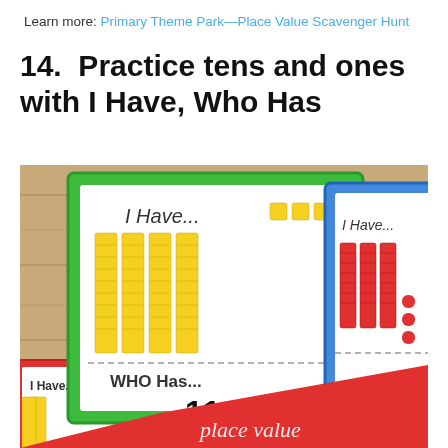Learn more: Primary Theme Park—Place Value Scavenger Hunt
14. Practice tens and ones with I Have, Who Has
[Figure (photo): Photo of 'I Have, Who Has' place value card game cards showing tens and ones base-ten blocks in green, blue and red bordered cards on a wooden background, with a red banner overlay reading 'place value']